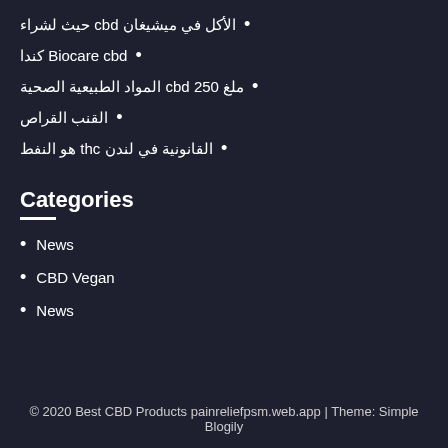الأكل في ميشيغان cbd حيث لشراء
Biocare cbd كندا
ملغ 250 cbd المواد الطبيعية الصحية
القنب القراص
القانونية في لندن thc هو النفط
Categories
News
CBD Vegan
News
© 2020 Best CBD Products painreliefpsm.web.app | Theme: Simple Blogily